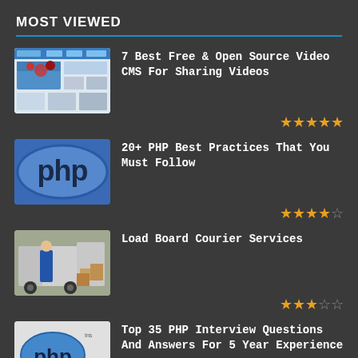MOST VIEWED
7 Best Free & Open Source Video CMS For Sharing Videos
20+ PHP Best Practices That You Must Follow
Load Board Courier Services
Top 35 PHP Interview Questions And Answers For 5 Year Experience
CATEGORY